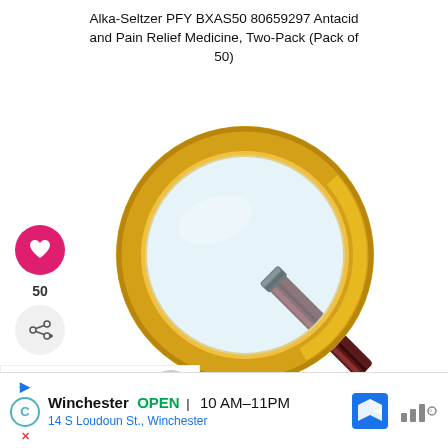Alka-Seltzer PFY BXAS50 80659297 Antacid and Pain Relief Medicine, Two-Pack (Pack of 50)
[Figure (illustration): A gold magnifying glass with a dark red/maroon handle, viewed at an angle. The lens area has a light blue-white tint.]
[Figure (illustration): Pink circular heart/favorite button icon]
50
[Figure (illustration): Gray circular share/add button icon]
WHAT'S NEXT → Halloween STEM...
Winchester  OPEN | 10 AM–11PM
14 S Loudoun St., Winchester